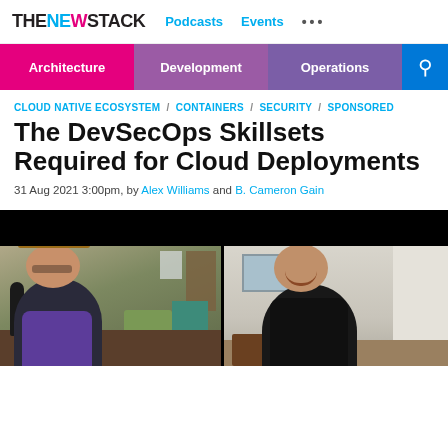THE NEW STACK  Podcasts  Events  ...
Architecture  Development  Operations
CLOUD NATIVE ECOSYSTEM / CONTAINERS / SECURITY / SPONSORED
The DevSecOps Skillsets Required for Cloud Deployments
31 Aug 2021 3:00pm, by Alex Williams and B. Cameron Gain
[Figure (photo): Video/podcast screenshot showing two people: on the left, a man wearing a hat and glasses sitting at a desk with a microphone in a home office setting; on the right, a younger man smiling wearing a dark vest in a light-colored room.]